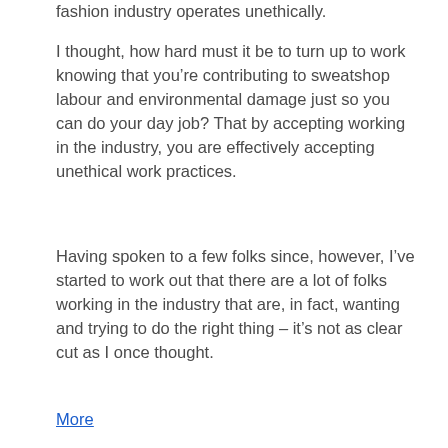fashion industry operates unethically.
I thought, how hard must it be to turn up to work knowing that you’re contributing to sweatshop labour and environmental damage just so you can do your day job? That by accepting working in the industry, you are effectively accepting unethical work practices.
Having spoken to a few folks since, however, I’ve started to work out that there are a lot of folks working in the industry that are, in fact, wanting and trying to do the right thing – it’s not as clear cut as I once thought.
More